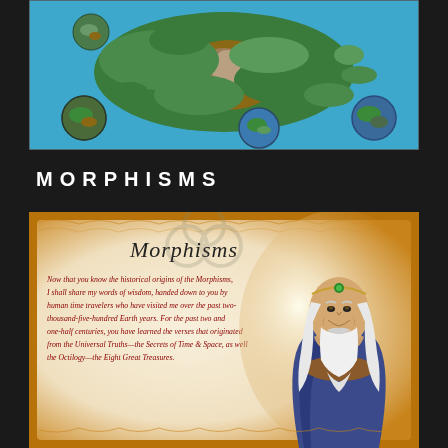[Figure (map): A fantasy world map with blue ocean background showing a large continent in greens and browns, surrounded by several small globe/planet spheres at the corners and edges]
MORPHISMS
[Figure (illustration): A decorative scroll/parchment illustration with golden border showing the title 'Morphisms' in italic script, a triquetra symbol, italic red text beginning 'Now that you know the historical origins of the Morphisms, I shall share my words of wisdom, handed down to you by human time travelers who have visited me over the past two-thousand-five-hundred Earth years. For the past two and one-half centuries, you have learned the verses that originated from the Universal Truths—the Secrets of Time & Space, as well the Octilogy—the Eight Great Treasures.' and a wizard figure with white hair and beard on the right side]